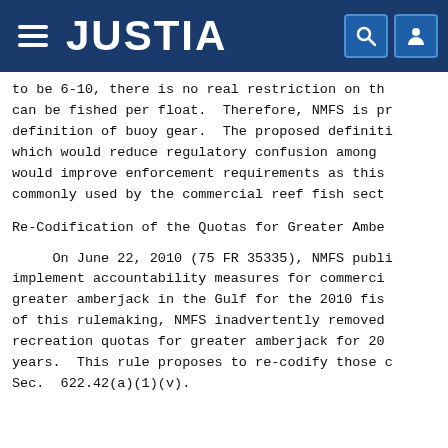JUSTIA
to be 6-10, there is no real restriction on th
can be fished per float.  Therefore, NMFS is pr
definition of buoy gear.  The proposed definiti
which would reduce regulatory confusion among
would improve enforcement requirements as this
commonly used by the commercial reef fish sect
Re-Codification of the Quotas for Greater Ambe
On June 22, 2010 (75 FR 35335), NMFS publi
implement accountability measures for commerci
greater amberjack in the Gulf for the 2010 fis
of this rulemaking, NMFS inadvertently removed
recreation quotas for greater amberjack for 20
years.  This rule proposes to re-codify those c
Sec.  622.42(a)(1)(v).